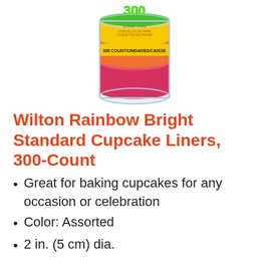[Figure (photo): Container of Wilton Rainbow Bright Standard Cupcake Liners, 300-count. A clear cylindrical container filled with colorful cupcake liners in green, yellow, orange, and pink/red colors. A yellow label band shows '300 COUNT/UNIDADES/CAISSE'.]
Wilton Rainbow Bright Standard Cupcake Liners, 300-Count
Great for baking cupcakes for any occasion or celebration
Color: Assorted
2 in. (5 cm) dia.